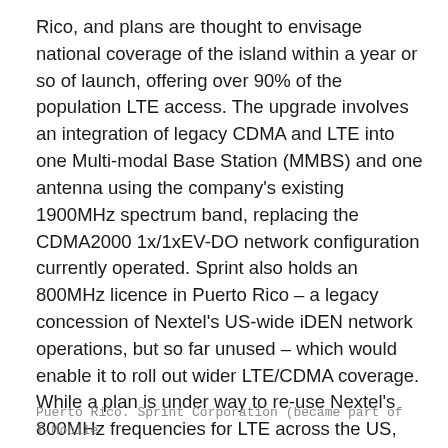Rico, and plans are thought to envisage national coverage of the island within a year or so of launch, offering over 90% of the population LTE access. The upgrade involves an integration of legacy CDMA and LTE into one Multi-modal Base Station (MMBS) and one antenna using the company's existing 1900MHz spectrum band, replacing the CDMA2000 1x/1xEV-DO network configuration currently operated. Sprint also holds an 800MHz licence in Puerto Rico – a legacy concession of Nextel's US-wide iDEN network operations, but so far unused – which would enable it to roll out wider LTE/CDMA coverage. While a plan is under way to re-use Nextel's 800MHz frequencies for LTE across the US, there have been no plans announced yet for 800MHz deployment in Puerto Rico, although it is speculated that Sprint could start rollout of 800MHz services on the island in 2014.
Puerto Rico. Sprint Corporation (became part of T-Mobile